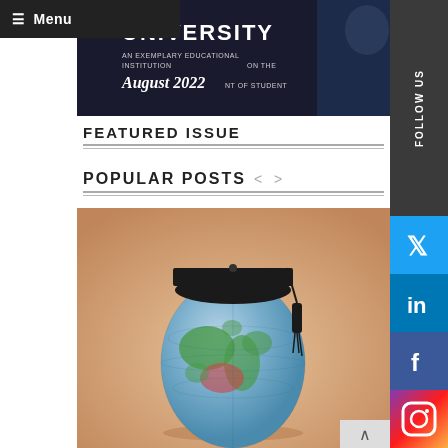Menu
[Figure (photo): University banner with text 'UNIVERSITY', 'AN EXEMPLARY EDUCATIONAL INSTITUTION', 'August 2022', 'NT OF STUDENT']
FEATURED ISSUE
POPULAR POSTS
[Figure (photo): A globe shaped like an egg wearing a graduation mortarboard cap, on a warm beige background]